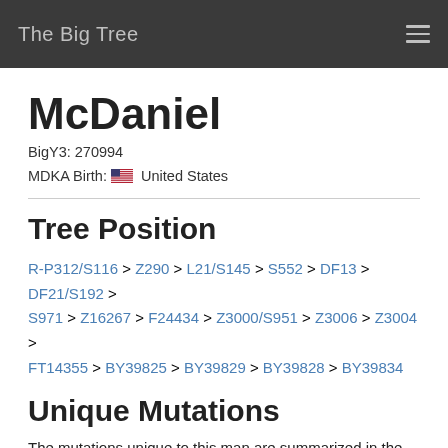The Big Tree
McDaniel
BigY3: 270994
MDKA Birth: United States
Tree Position
R-P312/S116 > Z290 > L21/S145 > S552 > DF13 > DF21/S192 > S971 > Z16267 > F24434 > Z3000/S951 > Z3006 > Z3004 > FT14355 > BY39825 > BY39829 > BY39828 > BY39834
Unique Mutations
The mutations unique to this man are summarized in the table below. Those with a '+' or '*' confidence level are considered by FamilyTreeDNA or FullGenomesCorp to be high quality SNPs/INDELs. For completeness, all other mutations of lesser